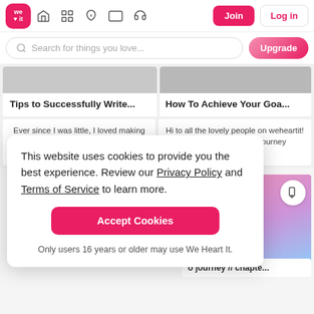[Figure (screenshot): We Heart It navigation bar with logo, home, grid, pen, card, and headphone icons, Join button and Log in button]
[Figure (screenshot): Search bar with placeholder text 'Search for things you love...' and Upgrade button]
Tips to Successfully Write...
Before you start writing your Persuasive Essay, it's
How To Achieve Your Goa...
August 16, 2022 8:30 AM EST | 7 min read
e everything you need
ore ›  by @PURE_S...
This website uses cookies to provide you the best experience. Review our Privacy Policy and Terms of Service to learn more.
Accept Cookies
Only users 16 years or older may use We Heart It.
[Figure (photo): Pink and purple landscape with clouds]
o journey // chapte...
Ever since I was little, I loved making videos, recording myself and other people and
Hi to all the lovely people on weheartit! The first week of this journey